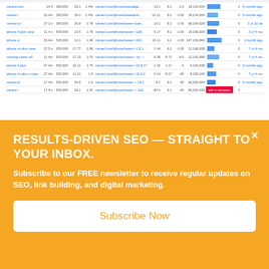[Figure (screenshot): A screenshot of a keyword ranking table showing multiple rows with keyword names, position numbers, URLs, and sparkline charts in blue.]
This will return keywords and pages where Carved ranks lower than position seven.
Now click “+Add one more”.
Select “Position”, choose “less than”, and enter 5…
RESULTS-DRIVEN SEO — STRAIGHT TO YOUR INBOX.
Subscribe to our FREE newsletter to receive regular updates on SEO, link building, and digital marketing.
Subscribe Now